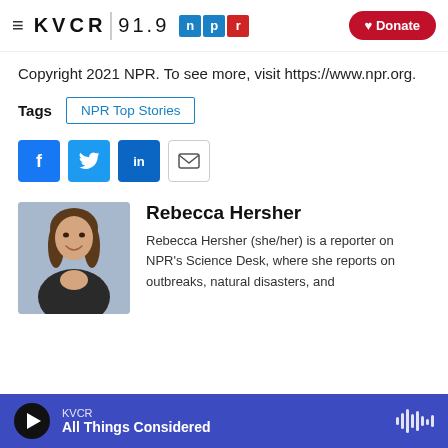KVCR 91.9 NPR | Donate
Copyright 2021 NPR. To see more, visit https://www.npr.org.
Tags  NPR Top Stories
[Figure (screenshot): Social sharing icons: Facebook, Twitter, LinkedIn, Email]
[Figure (photo): Headshot photo of Rebecca Hersher, a woman with long curly brown hair, smiling, wearing a dark blazer]
Rebecca Hersher
Rebecca Hersher (she/her) is a reporter on NPR's Science Desk, where she reports on outbreaks, natural disasters, and
KVCR  All Things Considered